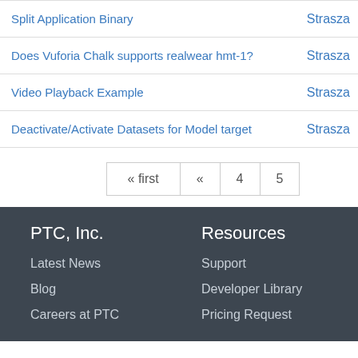| Topic | Author |
| --- | --- |
| Split Application Binary | Strasza |
| Does Vuforia Chalk supports realwear hmt-1? | Strasza |
| Video Playback Example | Strasza |
| Deactivate/Activate Datasets for Model target | Strasza |
« first  «  4  5
PTC, Inc.
Resources
Latest News
Support
Blog
Developer Library
Careers at PTC
Pricing Request